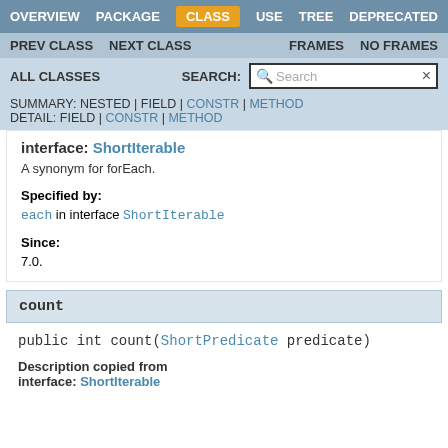OVERVIEW  PACKAGE  CLASS  USE  TREE  DEPRECATED
PREV CLASS  NEXT CLASS  FRAMES  NO FRAMES
ALL CLASSES  SEARCH:
SUMMARY: NESTED | FIELD | CONSTR | METHOD  DETAIL: FIELD | CONSTR | METHOD
interface: ShortIterable
A synonym for forEach.
Specified by:
each in interface ShortIterable
Since:
7.0.
count
public int count(ShortPredicate predicate)
Description copied from
interface: ShortIterable